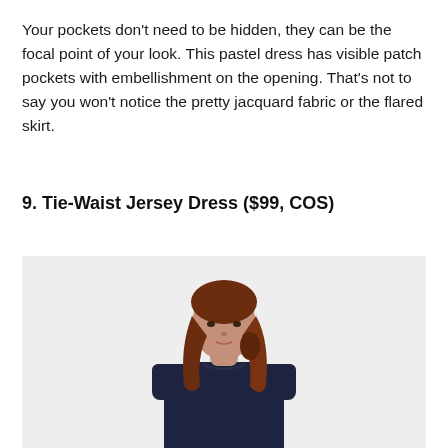Your pockets don't need to be hidden, they can be the focal point of your look. This pastel dress has visible patch pockets with embellishment on the opening. That's not to say you won't notice the pretty jacquard fabric or the flared skirt.
9. Tie-Waist Jersey Dress ($99, COS)
[Figure (photo): A female model with long auburn hair wearing a dark navy short-sleeve jersey dress, photographed against a light gray background, upper body and torso visible.]